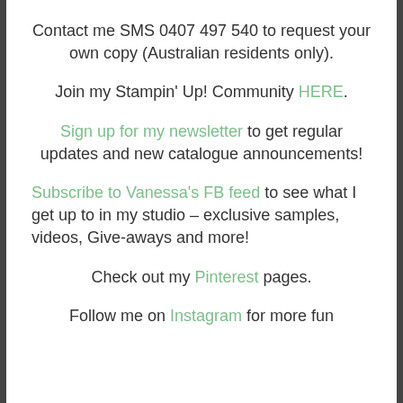Contact me SMS 0407 497 540 to request your own copy (Australian residents only).
Join my Stampin' Up! Community HERE.
Sign up for my newsletter to get regular updates and new catalogue announcements!
Subscribe to Vanessa's FB feed to see what I get up to in my studio – exclusive samples, videos, Give-aways and more!
Check out my Pinterest pages.
Follow me on Instagram for more fun